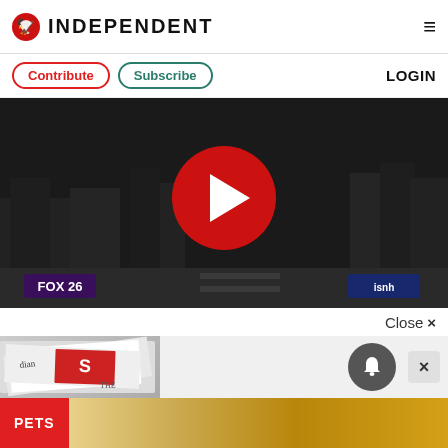[Figure (logo): The Independent newspaper logo with red eagle icon and INDEPENDENT text in bold]
Contribute
Subscribe
LOGIN
[Figure (screenshot): Dark video thumbnail showing crowd scene at night with large red play button circle in center, FOX 26 badge bottom-left, isnh badge bottom-right]
Close ×
[Figure (photo): Advertisement showing newspapers including Guardian and Daily Star stacked together]
PETS